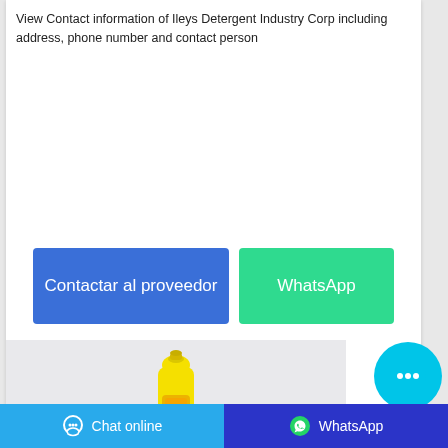View Contact information of Ileys Detergent Industry Corp including address, phone number and contact person
[Figure (illustration): Blue button labeled 'Contactar al proveedor' and green button labeled 'WhatsApp']
[Figure (photo): Yellow detergent bottle product image on light gray background]
[Figure (illustration): Cyan circular chat bubble icon button]
Chat online   WhatsApp